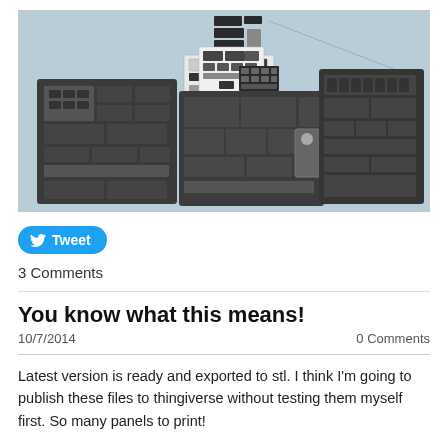[Figure (schematic): 3D CAD model showing exploded view of multiple control panel flat-pack parts laid out in SketchUp-style viewport with light blue background. Several dark grey rectangular panel sections with detailed button/switch textures are spread across the view.]
Tweet
3 Comments
You know what this means!
10/7/2014	0 Comments
Latest version is ready and exported to stl. I think I'm going to publish these files to thingiverse without testing them myself first. So many panels to print!